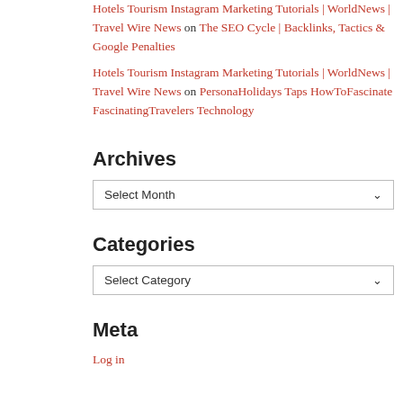Hotels Tourism Instagram Marketing Tutorials | WorldNews | Travel Wire News on The SEO Cycle | Backlinks, Tactics & Google Penalties
Hotels Tourism Instagram Marketing Tutorials | WorldNews | Travel Wire News on PersonaHolidays Taps HowToFascinate FascinatingTravelers Technology
Archives
Select Month
Categories
Select Category
Meta
Log in